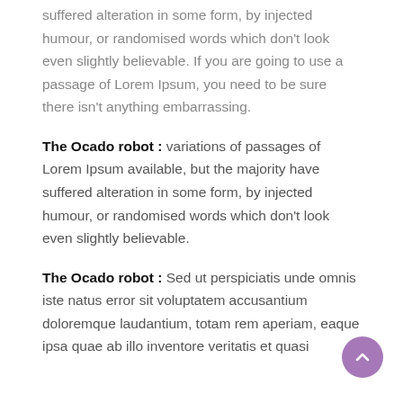suffered alteration in some form, by injected humour, or randomised words which don’t look even slightly believable. If you are going to use a passage of Lorem Ipsum, you need to be sure there isn’t anything embarrassing.
The Ocado robot : variations of passages of Lorem Ipsum available, but the majority have suffered alteration in some form, by injected humour, or randomised words which don’t look even slightly believable.
The Ocado robot : Sed ut perspiciatis unde omnis iste natus error sit voluptatem accusantium doloremque laudantium, totam rem aperiam, eaque ipsa quae ab illo inventore veritatis et quasi